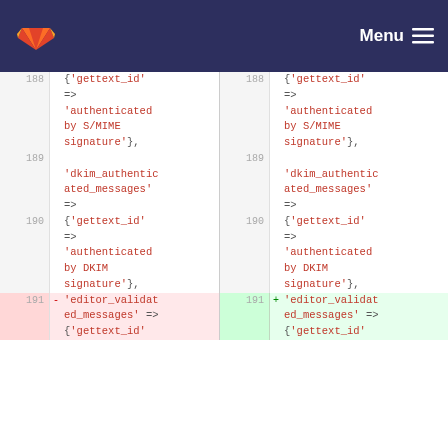GitLab — Menu
Diff view showing lines 188-191 of code with gettext_id, authenticated by S/MIME signature, dkim_authenticated_messages, authenticated by DKIM signature, and editor_validated_messages changes.